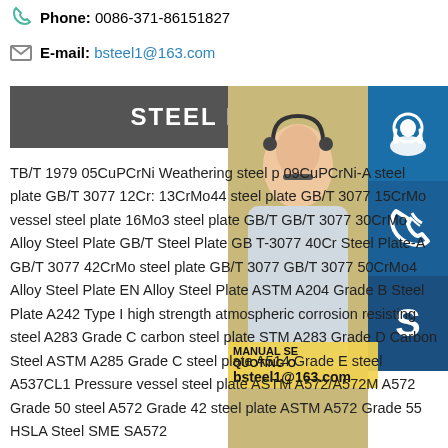Phone: 0086-371-86151827
E-mail: bsteel1@163.com
STEEL MATER
[Figure (photo): Customer service representative woman with headset, alongside blue icon buttons for chat, phone, and Skype, with overlay text MANUAL SERVICE, QUOTING ON, bsteel1@163.com]
TB/T 1979 05CuPCrNi Weathering steel p 09CuPCrNi-A steel plate GB/T 3077 12Cr: 13CrMo44 steel plate GB/T 3077 15CrMo vessel steel plate 16Mo3 steel plate GB/T GB/T 3077 30CrMo Alloy Steel Plate GB/T Steel Plate GB T-3077 40Cr Steel Plate-A GB/T 3077 42CrMo steel plate GB/T 3077 GB/T 3077 50CrMo4 Alloy Steel Plate EN Alloy Steel Plate ASTM A204 Grade B Steel Plate A242 Type I high strength atmospheric corrosion resisting steel A283 Grade C carbon steel plate STM A283 Grade D Carbon Steel ASTM A285 Grade C steel plate A514 Grade E steel A537CL1 Pressure vessel steel plate ASTM A572/A572M A572 Grade 50 steel A572 Grade 42 steel plate ASTM A572 Grade 55 HSLA Steel SME SA572